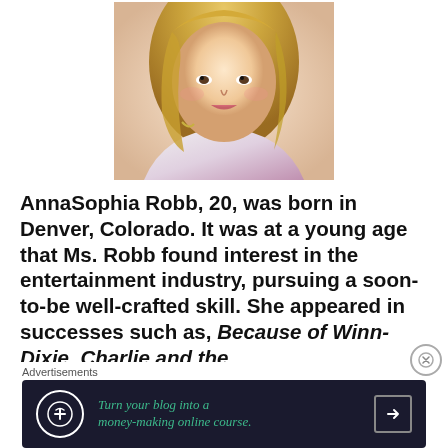[Figure (photo): Portrait photo of AnnaSophia Robb, a young blonde woman smiling, wearing a floral top and a bracelet, shown from shoulders up]
AnnaSophia Robb, 20, was born in Denver, Colorado. It was at a young age that Ms. Robb found interest in the entertainment industry, pursuing a soon-to-be well-crafted skill. She appeared in successes such as, Because of Winn-Dixie, Charlie and the
Advertisements
[Figure (infographic): Advertisement banner: dark background with circular icon, green italic text reading 'Turn your blog into a money-making online course.' with an arrow button]